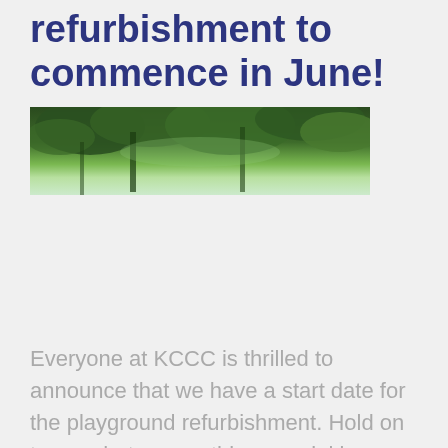refurbishment to commence in June!
[Figure (photo): Outdoor photo looking up through green tree canopy with sky visible, appears to be a park or playground area]
Everyone at KCCC is thrilled to announce that we have a start date for the playground refurbishment. Hold on to your hats, something special is coming to the outside areas.
Continue Reading